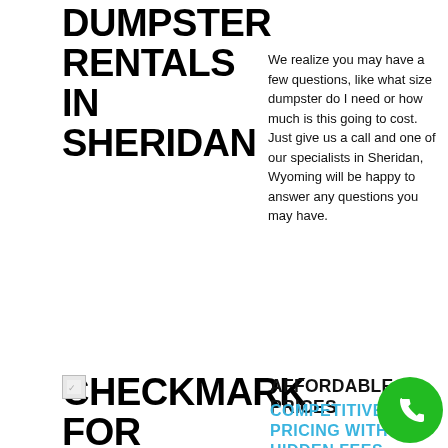DUMPSTER RENTALS IN SHERIDAN
We realize you may have a few questions, like what size dumpster do I need or how much is this going to cost. Just give us a call and one of our specialists in Sheridan, Wyoming will be happy to answer any questions you may have.
[Figure (illustration): Small checkmark icon for cheap dumpster rentals in Sheridan]
CHECKMARK FOR CHEAP DUMPSTER RENTALS IN SHERIDAN
AFFORDABLE PRICES
COMPETITIVE PRICING WITH NO HIDDEN FEES
Some dumpster companies will charge add on fees that you're not made aware until it's too late. We pride ourselves on having upfront, clear and competitive pricing that always includes delivery, pick up, charges for landfill, and a specified weight limit. No hidden charges